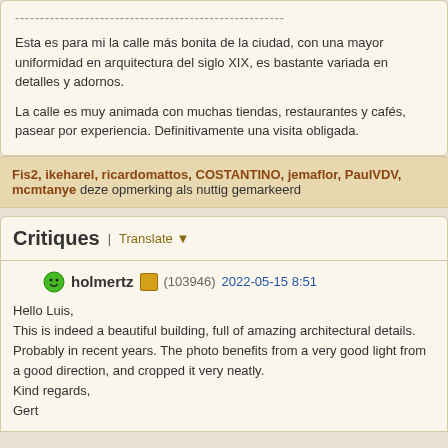------------------------------------------------------
Esta es para mi la calle más bonita de la ciudad, con una mayor uniformidad en arquitectura del siglo XIX, es bastante variada en detalles y adornos.
La calle es muy animada con muchas tiendas, restaurantes y cafés, pasear por experiencia. Definitivamente una visita obligada.
Fis2, ikeharel, ricardomattos, COSTANTINO, jemaflor, PaulVDV, mcmtanye deze opmerking als nuttig gemarkeerd
Critiques | Translate
holmertz (103946) 2022-05-15 8:51
Hello Luis,
This is indeed a beautiful building, full of amazing architectural details. Probably in recent years. The photo benefits from a very good light from a good direction, and cropped it very neatly.
Kind regards,
Gert